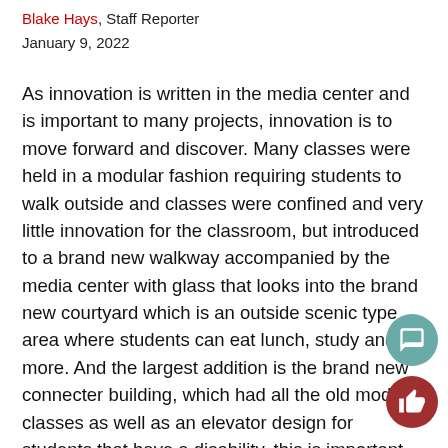Blake Hays, Staff Reporter
January 9, 2022
As innovation is written in the media center and is important to many projects, innovation is to move forward and discover. Many classes were held in a modular fashion requiring students to walk outside and classes were confined and very little innovation for the classroom, but introduced to a brand new walkway accompanied by the media center with glass that looks into the brand new courtyard which is an outside scenic type area where students can eat lunch, study and more. And the largest addition is the brand new connecter building, which had all the old modular classes as well as an elevator design for students that have a disability, this is important because if there was a student that broke their leg the teacher would have to move the whole class for the one student, this is not an issue anymore and is a great addition to the new and